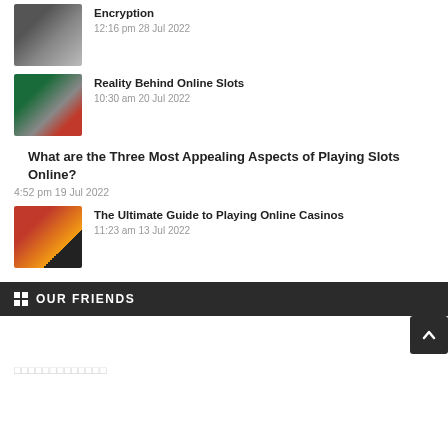[Figure (photo): Casino/laptop with encryption theme thumbnail]
Encryption
12:16 pm 28 Jul 2022
[Figure (photo): Casino chips and cards on green felt thumbnail]
Reality Behind Online Slots
10:30 am 20 Jul 2022
What are the Three Most Appealing Aspects of Playing Slots Online?
4:52 pm 19 Jul 2022
[Figure (photo): Roulette wheel and casino chips thumbnail]
The Ultimate Guide to Playing Online Casinos
11:23 am 13 Jul 2022
OUR FRIENDS
□□□□□□□□□□□□□